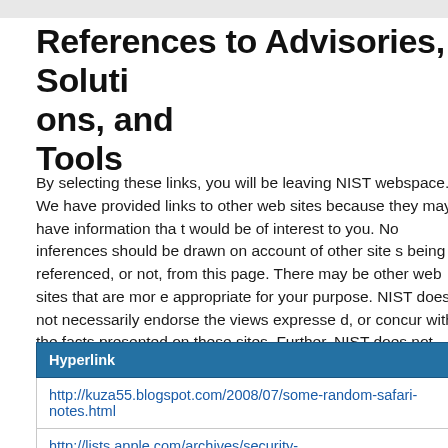References to Advisories, Solutions, and Tools
By selecting these links, you will be leaving NIST webspace. We have provided links to other web sites because they may have information that would be of interest to you. No inferences should be drawn on account of other sites being referenced, or not, from this page. There may be other web sites that are more appropriate for your purpose. NIST does not necessarily endorse the views expressed, or concur with the facts presented on these sites. Further, NIST does not endorse any commercial products that may be mentioned on these sites. Please address comments about this page to nvd@nist.gov.
| Hyperlink |
| --- |
| http://kuza55.blogspot.com/2008/07/some-random-safari-notes.html |
| http://lists.apple.com/archives/security- |